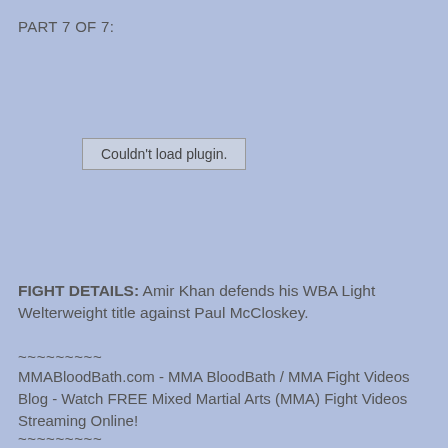PART 7 OF 7:
[Figure (other): Couldn't load plugin. placeholder box for an embedded video plugin]
FIGHT DETAILS: Amir Khan defends his WBA Light Welterweight title against Paul McCloskey.
~~~~~~~~~
MMABloodBath.com - MMA BloodBath / MMA Fight Videos Blog - Watch FREE Mixed Martial Arts (MMA) Fight Videos Streaming Online!
~~~~~~~~~